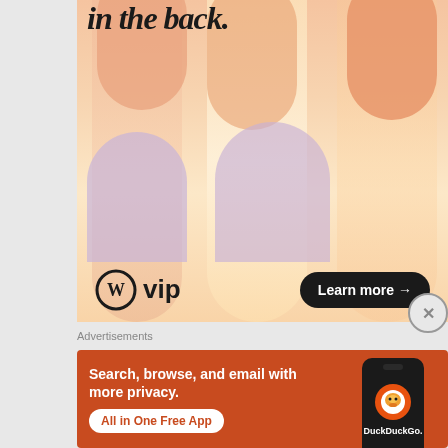[Figure (illustration): WordPress VIP advertisement banner with peach/orange gradient background, decorative oval pill shapes in orange and lavender, bold italic text 'in the back.' at top, WordPress logo with 'vip' text, and 'Learn more →' button in dark pill shape]
Advertisements
[Figure (illustration): DuckDuckGo advertisement on orange-red background. Text: 'Search, browse, and email with more privacy.' Button: 'All in One Free App'. Shows a phone with DuckDuckGo logo and 'DuckDuckGo.' text.]